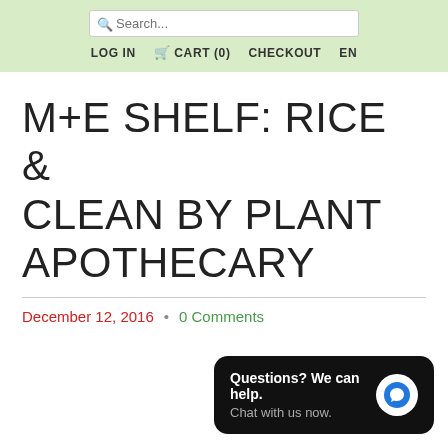Search... LOG IN CART (0) CHECKOUT EN
M+E SHELF: RICE & CLEAN BY PLANT APOTHECARY
December 12, 2016 · 0 Comments
[Figure (other): Chat widget with text 'Questions? We can help. Chat with us now.' and blue speech bubble icon on dark rounded rectangle background]